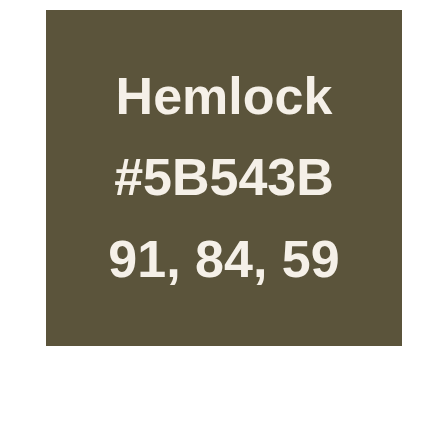[Figure (other): A solid color swatch block in dark olive/khaki color #5B543B displaying the color name 'Hemlock', hex code '#5B543B', and RGB values '91, 84, 59' in white bold text.]